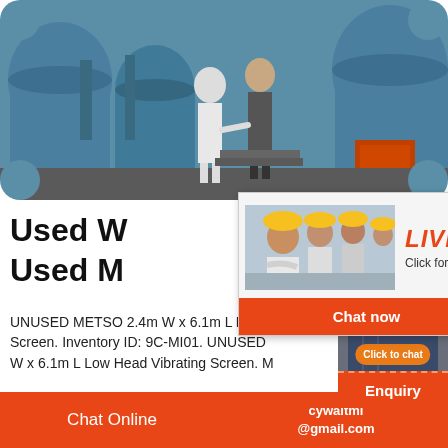[Figure (photo): Factory interior with two businessmen shaking hands surrounded by large blue industrial machinery]
Used W...
Used M...
UNUSED METSO 2.4m W x 6.1m L Low Head Vibrating Screen. Inventory ID: 9C-MI01. UNUSED METSO 2.4m W x 6.1m L Low Head Vibrating Screen. M...
[Figure (photo): Live Chat popup showing workers in yellow hard hats, red LIVE CHAT heading, 'Click for a Free Consultation' text, Chat now and Chat later buttons]
[Figure (photo): Right sidebar showing customer service agent with headset, hour online label, click to chat button, and Enquiry section]
hour online
Click to chat
Enquiry
Chat Online   cywaitml @gmail.com